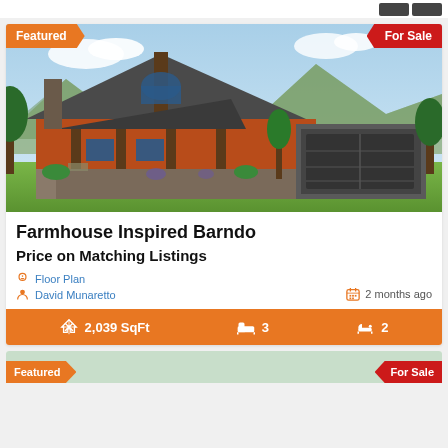[Figure (photo): Exterior rendering of a farmhouse-inspired barndominium with orange/brown wood siding, stone pillars, metal roof, attached garage, green lawn, mountains in background. 'Featured' badge top-left, 'For Sale' badge top-right.]
Farmhouse Inspired Barndo
Price on Matching Listings
Floor Plan
David Munaretto
2 months ago
2,039 SqFt  3  2
[Figure (photo): Bottom strip showing the top of a second listing card with 'Featured' badge on left and 'For Sale' badge on right.]